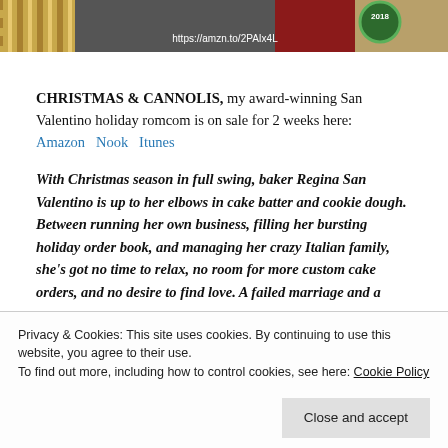[Figure (photo): Top partial image of a Christmas book cover with gold/red decorations, a URL 'https://amzn.to/2PAIx4L', and a green award badge showing '2018']
CHRISTMAS & CANNOLIS, my award-winning San Valentino holiday romcom is on sale for 2 weeks here: Amazon  Nook  Itunes
With Christmas season in full swing, baker Regina San Valentino is up to her elbows in cake batter and cookie dough. Between running her own business, filling her bursting holiday order book, and managing her crazy Italian family, she's got no time to relax, no room for more custom cake orders, and no desire to find love. A failed marriage and a
Connor Gilhooly is in a bind. He needs a
Privacy & Cookies: This site uses cookies. By continuing to use this website, you agree to their use.
To find out more, including how to control cookies, see here: Cookie Policy